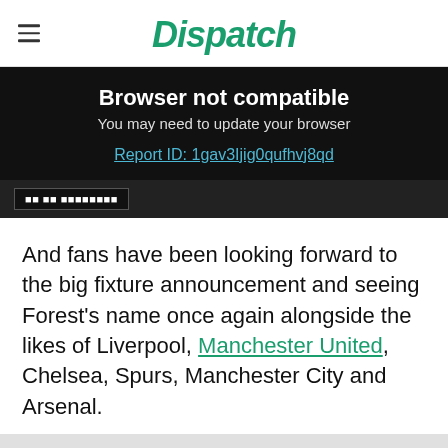Dispatch
Browser not compatible
You may need to update your browser
Report ID: 1gav3Ijig0qufhvj8qd
[Figure (screenshot): Partially visible dark image with a button]
And fans have been looking forward to the big fixture announcement and seeing Forest's name once again alongside the likes of Liverpool, Manchester United, Chelsea, Spurs, Manchester City and Arsenal.
Fans will have already been checking the dates